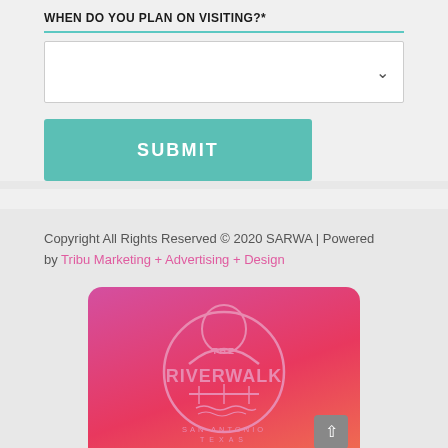WHEN DO YOU PLAN ON VISITING?*
[Figure (screenshot): Dropdown input field for selecting visit date, with teal divider line above and chevron arrow on right]
[Figure (screenshot): Teal SUBMIT button]
Copyright All Rights Reserved © 2020 SARWA | Powered by Tribu Marketing + Advertising + Design
[Figure (logo): The River Walk San Antonio Texas logo on a pink-to-red gradient card background, circular badge style logo with arch bridge graphic]